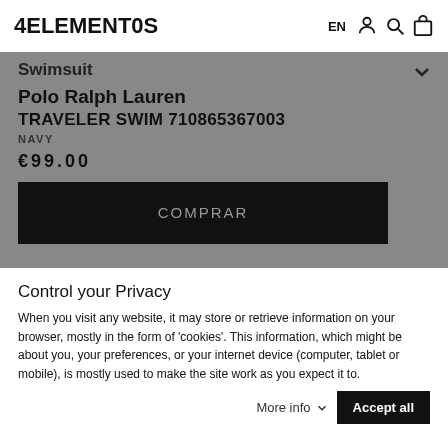4ELEMENTOS
Swimsuit
Polo Ralph Lauren
TRAVELER SWIM 710865367003
NAVY
€99.00
COMPRAR
Control your Privacy
When you visit any website, it may store or retrieve information on your browser, mostly in the form of 'cookies'. This information, which might be about you, your preferences, or your internet device (computer, tablet or mobile), is mostly used to make the site work as you expect it to.
More info
Accept all